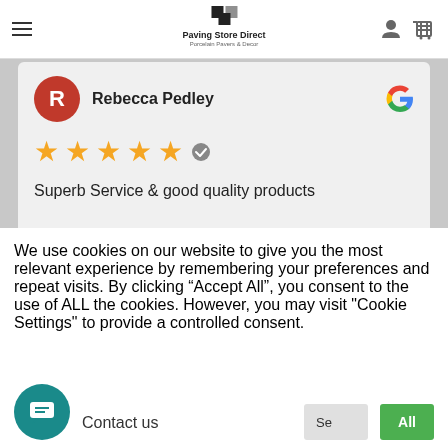Paving Store Direct — Porcelain Pavers & Decor
Rebecca Pedley
★★★★★
Superb Service & good quality products
We use cookies on our website to give you the most relevant experience by remembering your preferences and repeat visits. By clicking "Accept All", you consent to the use of ALL the cookies. However, you may visit "Cookie Settings" to provide a controlled consent.
Contact us